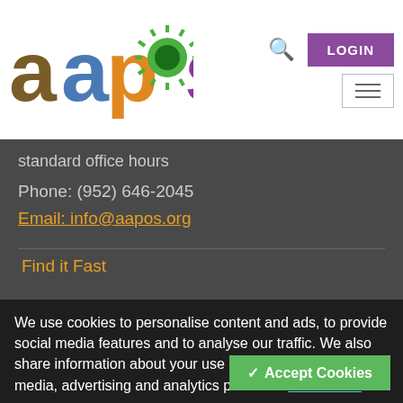[Figure (logo): AAPOS logo with colorful letters: 'aa' in brown and blue, 'p' in orange, 'o' with green starburst, 's' in purple]
standard office hours
Phone: (952) 646-2045
Email: info@aapos.org
Find it Fast
We use cookies to personalise content and ads, to provide social media features and to analyse our traffic. We also share information about your use of our site with our social media, advertising and analytics partners.  Learn more